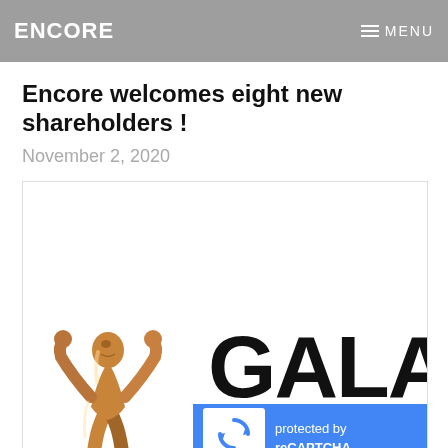ENCORE   MENU
Encore welcomes eight new shareholders !
November 2, 2020
[Figure (photo): Photo showing a bronze/gold trophy statue on the left (abstract human figure with arms raised) and large bold text 'GALA ADIS' on white background on the right, partially cut off. A blue reCAPTCHA widget overlays the bottom portion with 'protected by reCAPTCHA' and Privacy/Terms links.]